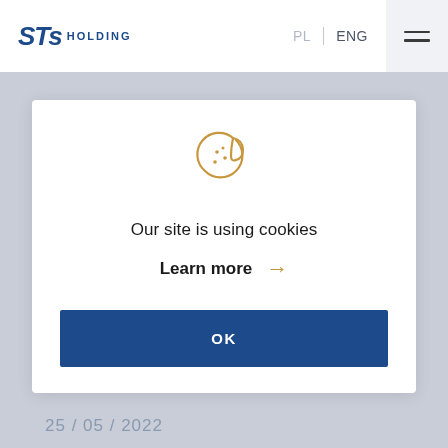STS HOLDING  PL | ENG
[Figure (illustration): Cookie icon - a cookie with a bite taken out, drawn in gold/tan outline style]
Our site is using cookies
Learn more →
OK
25 / 05 / 2022